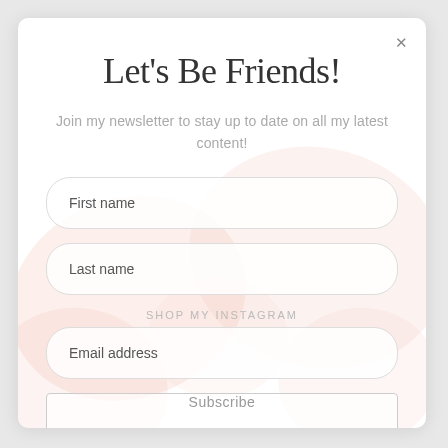Let's Be Friends!
Join my newsletter to stay up to date on all my latest content!
First name
Last name
SHOP MY INSTAGRAM
Email address
Subscribe